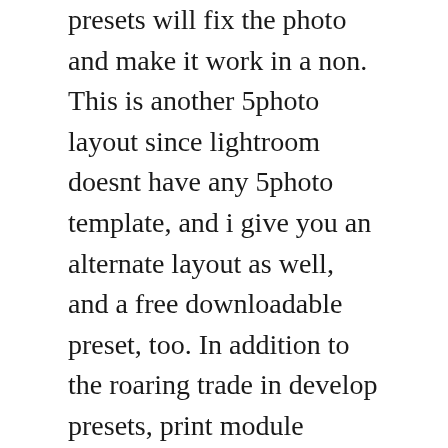presets will fix the photo and make it work in a non. This is another 5photo layout since lightroom doesnt have any 5photo template, and i give you an alternate layout as well, and a free downloadable preset, too. In addition to the roaring trade in develop presets, print module templates have also become popular. Blog collage templates print collage templates for printing large collages for clients collages 2up, 3up collages 4up collages 5up, 6up, 7up collages 8up, 9up, 10up collages 11up, 12up, up collages 14up, 15up, 16up collages more facebook timelines. Click through these pages